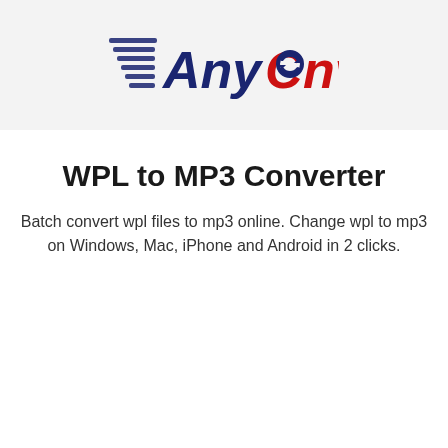[Figure (logo): AnyConv logo with speed lines and conversion icon, text in dark navy and red colors]
WPL to MP3 Converter
Batch convert wpl files to mp3 online. Change wpl to mp3 on Windows, Mac, iPhone and Android in 2 clicks.